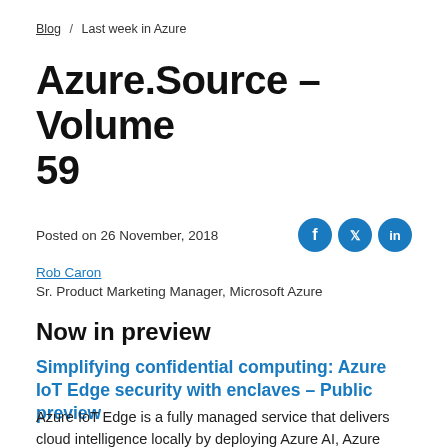Blog / Last week in Azure
Azure.Source - Volume 59
Posted on 26 November, 2018
Rob Caron
Sr. Product Marketing Manager, Microsoft Azure
Now in preview
Simplifying confidential computing: Azure IoT Edge security with enclaves – Public preview
Azure IoT Edge is a fully managed service that delivers cloud intelligence locally by deploying Azure AI, Azure services, and custom logic directly on edge devices, such as gateway